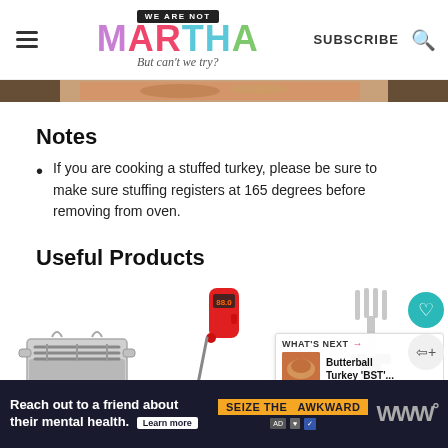WE ARE NOT MARTHA — But can't we try? | SUBSCRIBE
[Figure (photo): Cropped hero image of a cooked turkey dish]
Notes
If you are cooking a stuffed turkey, please be sure to make sure stuffing registers at 165 degrees before removing from oven.
Useful Products
[Figure (photo): Three product images: a stainless steel roasting pan with rack, a red digital meat thermometer, and a meat carving fork]
[Figure (infographic): What's Next promo: Butterball Turkey 'BST'...]
[Figure (photo): Advertisement banner: Reach out to a friend about their mental health. Seize the Awkward. Learn more.]